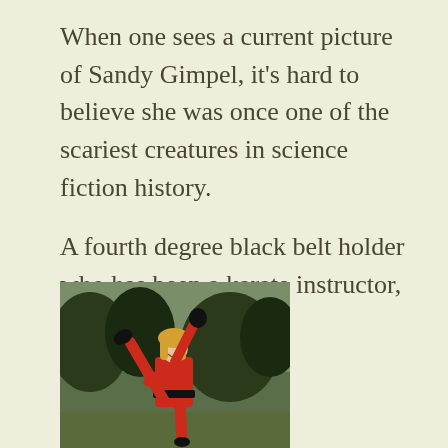When one sees a current picture of Sandy Gimpel, it's hard to believe she was once one of the scariest creatures in science fiction history.
A fourth degree black belt holder who has been a karate instructor,
[Figure (photo): A woman in a red karate uniform performing a high kick with one leg raised above her head, fist raised, with a black belt, outdoors with trees in the background. She has blonde hair and is smiling.]